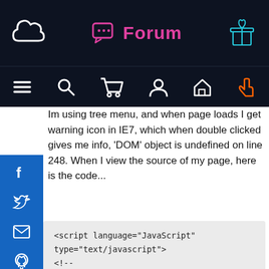Forum
Im using tree menu, and when page loads I get warning icon in IE7, which when double clicked gives me info, 'DOM' object is undefined on line 248. When I view the source of my page, here is the code...
<script language="JavaScript" type="text/javascript">
<!--

// bellow line 248, and IE7 complains DOM is undefined.
if ((DOM && !Opera56 && !Konqueror22) ||
IE4) {